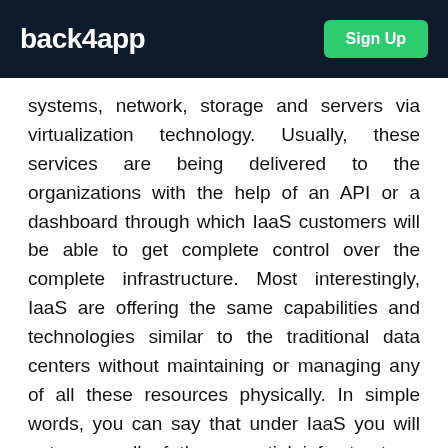back4app  Sign Up
systems, network, storage and servers via virtualization technology. Usually, these services are being delivered to the organizations with the help of an API or a dashboard through which IaaS customers will be able to get complete control over the complete infrastructure. Most interestingly, IaaS are offering the same capabilities and technologies similar to the traditional data centers without maintaining or managing any of all these resources physically. In simple words, you can say that under IaaS you will outsource all of the essential infrastructure-related resources with the help of a virtual or